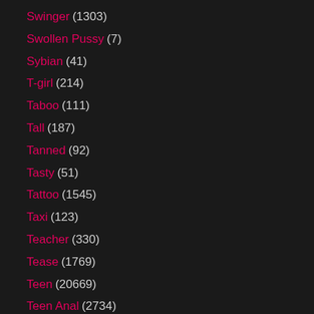Swinger (1303)
Swollen Pussy (7)
Sybian (41)
T-girl (214)
Taboo (111)
Tall (187)
Tanned (92)
Tasty (51)
Tattoo (1545)
Taxi (123)
Teacher (330)
Tease (1769)
Teen (20669)
Teen Anal (2734)
Teen Blowjob (5530)
Teen Gangbang (160)